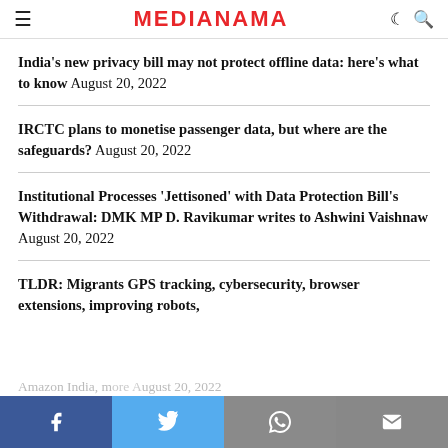MEDIANAMA
India's new privacy bill may not protect offline data: here's what to know August 20, 2022
IRCTC plans to monetise passenger data, but where are the safeguards? August 20, 2022
Institutional Processes 'Jettisoned' with Data Protection Bill's Withdrawal: DMK MP D. Ravikumar writes to Ashwini Vaishnaw August 20, 2022
TLDR: Migrants GPS tracking, cybersecurity, browser extensions, improving robots, Amazon India, more August 20, 2022